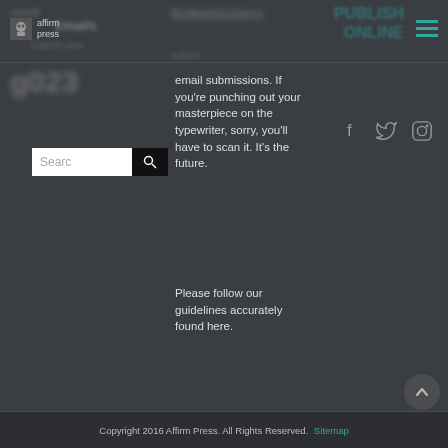Affirm Press navigation header with logo and hamburger menu
[Figure (logo): Affirm Press logo with small animal icon and text 'affirm press']
email submissions. If you're punching out your masterpiece on the typewriter, sorry, you'll have to scan it. It's the future.
Please follow our guidelines accurately found here.
[Figure (infographic): Social media icons: Facebook (f), Twitter (bird), Instagram (camera outline)]
[Figure (screenshot): Search box with text field showing 'Searc' and black search button with magnifying glass icon]
Copyright 2016 Affirm Press. All Rights Reserved. Sitemap